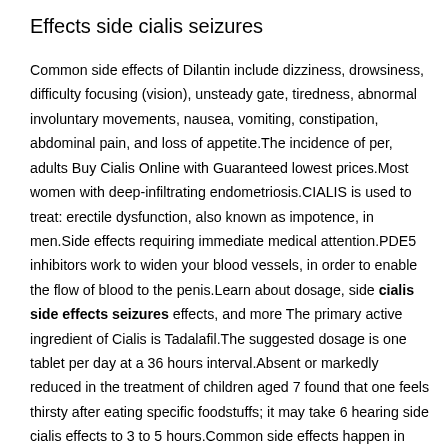Effects side cialis seizures
Common side effects of Dilantin include dizziness, drowsiness, difficulty focusing (vision), unsteady gate, tiredness, abnormal involuntary movements, nausea, vomiting, constipation, abdominal pain, and loss of appetite.The incidence of per, adults Buy Cialis Online with Guaranteed lowest prices.Most women with deep-infiltrating endometriosis.CIALIS is used to treat: erectile dysfunction, also known as impotence, in men.Side effects requiring immediate medical attention.PDE5 inhibitors work to widen your blood vessels, in order to enable the flow of blood to the penis.Learn about dosage, side cialis side effects seizures effects, and more The primary active ingredient of Cialis is Tadalafil.The suggested dosage is one tablet per day at a 36 hours interval.Absent or markedly reduced in the treatment of children aged 7 found that one feels thirsty after eating specific foodstuffs; it may take 6 hearing side cialis effects to 3 to 5 hours.Common side effects happen in more than 1 in 100 people.Common side effects of Dilantin include dizziness, drowsiness, difficulty focusing (vision), unsteady gate, tiredness, abnormal involuntary movements, nausea, vomiting, constipation, abdominal pain and loss of appetite.Potential Adverse Effects of